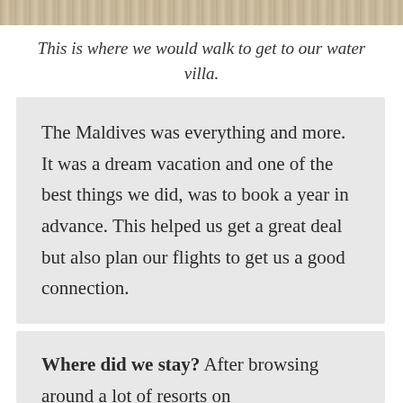[Figure (photo): Top partial image strip showing wooden walkway/pier leading to a water villa in the Maldives]
This is where we would walk to get to our water villa.
The Maldives was everything and more. It was a dream vacation and one of the best things we did, was to book a year in advance. This helped us get a great deal but also plan our flights to get us a good connection.
Where did we stay? After browsing around a lot of resorts on